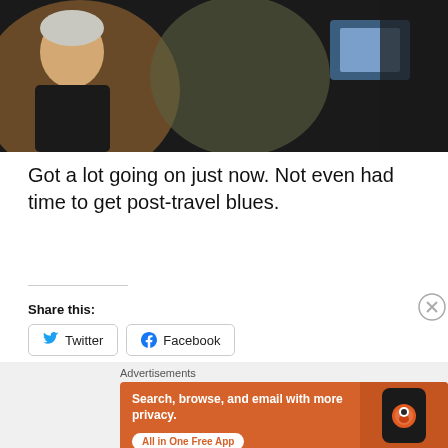[Figure (photo): Dark indoor photo of people, including an older man with white hair on the left side, others in jackets in the background with a blue-lit screen visible]
Got a lot going on just now. Not even had time to get post-travel blues.
Share this:
Twitter
Facebook
Advertisements
[Figure (screenshot): DuckDuckGo advertisement banner with orange background showing 'Search, browse, and email with more privacy. All in One Free App' with a phone mockup and DuckDuckGo logo]